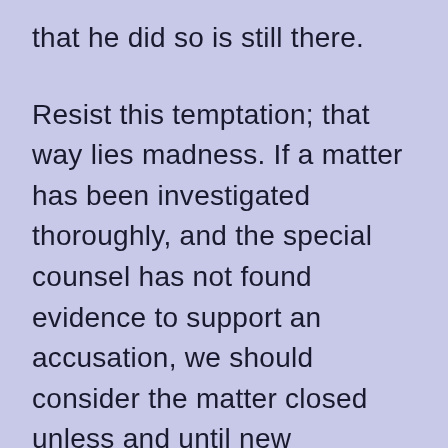that he did so is still there.
Resist this temptation; that way lies madness. If a matter has been investigated thoroughly, and the special counsel has not found evidence to support an accusation, we should consider the matter closed unless and until new information arises to support it. The basic principle, in short, is that people should take as the factual record those facts the special counsel affirmatively finds and not supplement that record with facts they wish he had found. Only if he specifically leaves a question open as unresolved should it be treated as unresolved.